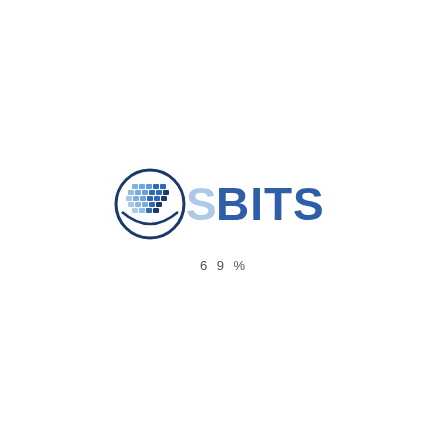[Figure (logo): OSBITS company logo consisting of a circular icon with blue grid/tile pattern and the text OSBITS in blue gradient lettering]
69%